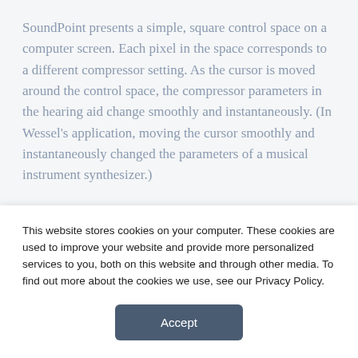SoundPoint presents a simple, square control space on a computer screen. Each pixel in the space corresponds to a different compressor setting. As the cursor is moved around the control space, the compressor parameters in the hearing aid change smoothly and instantaneously. (In Wessel's application, moving the cursor smoothly and instantaneously changed the parameters of a musical instrument synthesizer.)
While this approach seems simple, the underlying technology is complex, and there are numerous
This website stores cookies on your computer. These cookies are used to improve your website and provide more personalized services to you, both on this website and through other media. To find out more about the cookies we use, see our Privacy Policy.